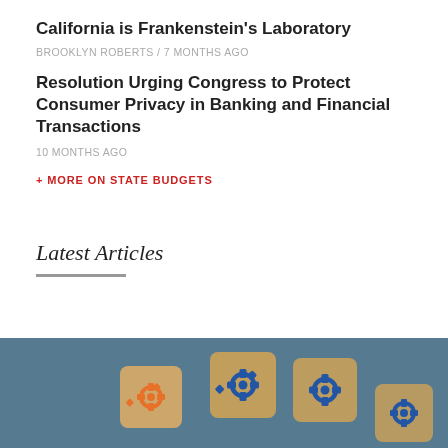California is Frankenstein's Laboratory
BROOKLYN ROBERTS / 7 MONTHS AGO
Resolution Urging Congress to Protect Consumer Privacy in Banking and Financial Transactions
10 MONTHS AGO
+ MORE ON STATE BUDGETS
Latest Articles
[Figure (photo): Wooden blocks with gear icons on a blue-grey background, one with an orange gear and others with blue gears]